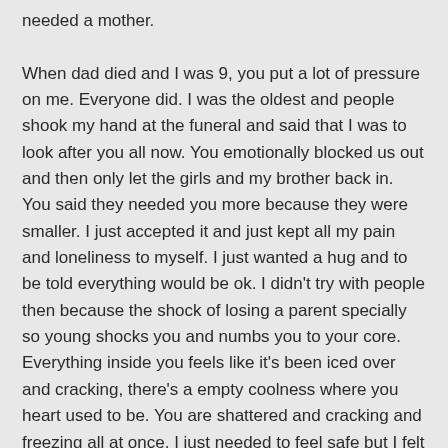needed a mother.

When dad died and I was 9, you put a lot of pressure on me. Everyone did. I was the oldest and people shook my hand at the funeral and said that I was to look after you all now. You emotionally blocked us out and then only let the girls and my brother back in. You said they needed you more because they were smaller. I just accepted it and just kept all my pain and loneliness to myself. I just wanted a hug and to be told everything would be ok. I didn't try with people then because the shock of losing a parent specially so young shocks you and numbs you to your core. Everything inside you feels like it's been iced over and cracking, there's a empty coolness where you heart used to be. You are shattered and cracking and freezing all at once. I just needed to feel safe but I felt I wasn't deserving because others needed love more. I decided to not get attached to people for a long time